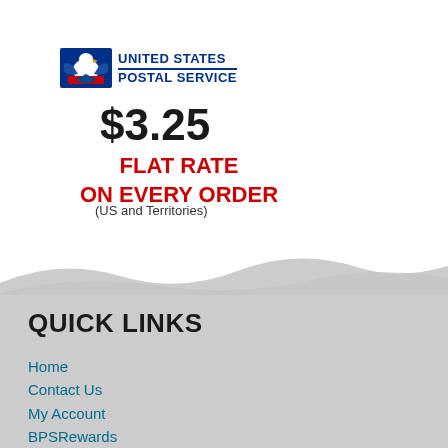[Figure (logo): United States Postal Service (USPS) logo with eagle emblem and blue text]
$3.25
FLAT RATE
ON EVERY ORDER
(US and Territories)
[Figure (illustration): Wave-shaped gray background divider between white and gray sections]
QUICK LINKS
Home
Contact Us
My Account
BPSRewards
Return Policy
Privacy Policy
Terms and Conditions